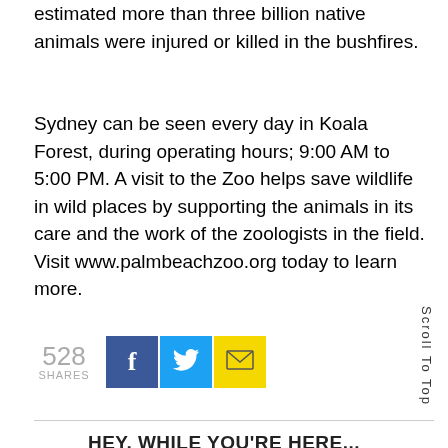estimated more than three billion native animals were injured or killed in the bushfires.
Sydney can be seen every day in Koala Forest, during operating hours; 9:00 AM to 5:00 PM. A visit to the Zoo helps save wildlife in wild places by supporting the animals in its care and the work of the zoologists in the field. Visit www.palmbeachzoo.org today to learn more.
[Figure (infographic): Social share bar showing 528 shares, with Facebook (blue), Twitter (cyan), and email (yellow) share buttons]
Scroll To Top
HEY, WHILE YOU'RE HERE...